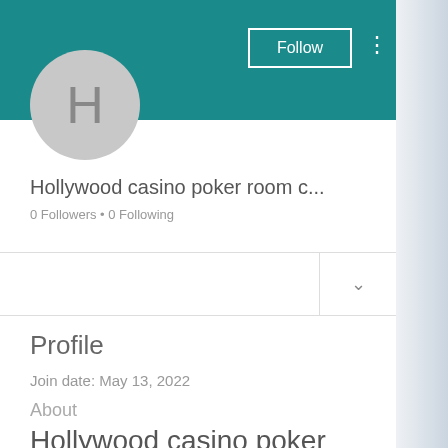[Figure (screenshot): User profile page screenshot showing teal header with avatar circle containing letter H, Follow button, three-dot menu, username 'Hollywood casino poker room c...', follower/following counts, filter row with chevron, Profile section, join date, About section, and large title text.]
Hollywood casino poker room c...
0 Followers • 0 Following
Profile
Join date: May 13, 2022
About
Hollywood casino poker room columbus